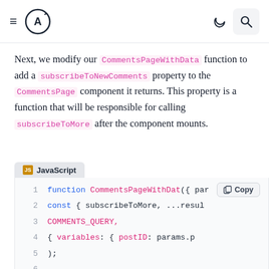≡ (A) [moon icon] [search icon]
Next, we modify our CommentsPageWithData function to add a subscribeToNewComments property to the CommentsPage component it returns. This property is a function that will be responsible for calling subscribeToMore after the component mounts.
[Figure (screenshot): JavaScript code block showing function CommentsPageWithData({ par, const { subscribeToMore, ...resul, COMMENTS_QUERY, { variables: { postID: params.p, );, (empty line), return (]
JavaScript